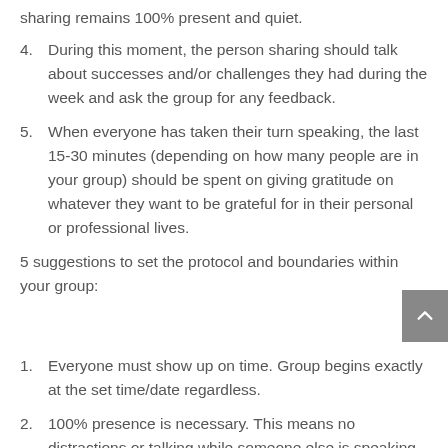sharing remains 100% present and quiet.
4. During this moment, the person sharing should talk about successes and/or challenges they had during the week and ask the group for any feedback.
5. When everyone has taken their turn speaking, the last 15-30 minutes (depending on how many people are in your group) should be spent on giving gratitude on whatever they want to be grateful for in their personal or professional lives.
5 suggestions to set the protocol and boundaries within your group:
1. Everyone must show up on time. Group begins exactly at the set time/date regardless.
2. 100% presence is necessary. This means no distractions or talking while someone else is speaking.